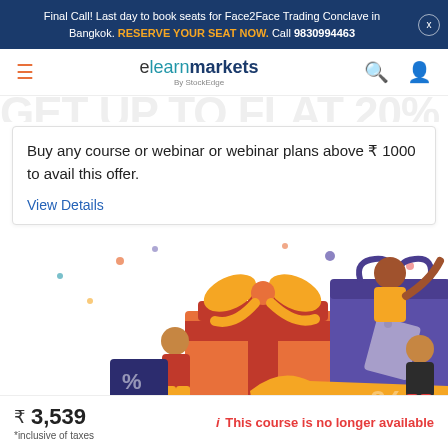Final Call! Last day to book seats for Face2Face Trading Conclave in Bangkok. RESERVE YOUR SEAT NOW. Call 9830994463
[Figure (logo): elearnmarkets by StockEdge logo with hamburger menu, search and profile icons]
Buy any course or webinar or webinar plans above ₹ 1000 to avail this offer.
View Details
[Figure (illustration): Colorful illustration of people celebrating with gift boxes showing percentage discount signs and confetti]
₹ 3,539 *inclusive of taxes   i This course is no longer available